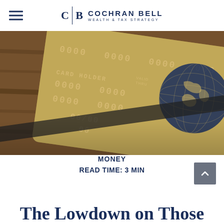CB | COCHRAN BELL WEALTH & TAX STRATEGY
[Figure (photo): Close-up photo of a gold credit card with embossed numbers and a blue globe logo, resting on a wooden surface with glasses partially visible]
MONEY
READ TIME: 3 MIN
The Lowdown on Those